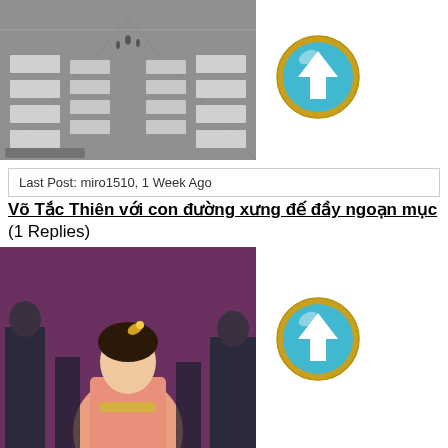[Figure (photo): Black and white photo of a large hall with rows of beds, appears to be a military or hospital ward]
[Figure (illustration): Circular blue up-arrow button with gold border (vote/upvote button)]
Last Post: miro1510, 1 Week Ago
Võ Tắc Thiên với con đường xưng đế đầy ngoạn mục (1 Replies)
[Figure (photo): Color photo of a woman in traditional Chinese costume (pink/orange dress, elaborate hair ornament) surrounded by people in dark uniforms]
[Figure (illustration): Circular blue up-arrow button with gold border (vote/upvote button)]
Last Post: bs098, 1 Week Ago
Chiến dịch Mỹ ném bom siêu núi lửa Hawaii: Chuyện bây giờ mới kể (0 Replies)
[Figure (photo): Black and white photo of people working on or around an aircraft]